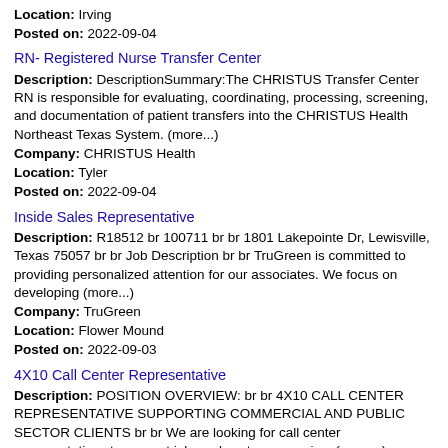Location: Irving
Posted on: 2022-09-04
RN- Registered Nurse Transfer Center
Description: DescriptionSummary:The CHRISTUS Transfer Center RN is responsible for evaluating, coordinating, processing, screening, and documentation of patient transfers into the CHRISTUS Health Northeast Texas System. (more...)
Company: CHRISTUS Health
Location: Tyler
Posted on: 2022-09-04
Inside Sales Representative
Description: R18512 br 100711 br br 1801 Lakepointe Dr, Lewisville, Texas 75057 br br Job Description br br TruGreen is committed to providing personalized attention for our associates. We focus on developing (more...)
Company: TruGreen
Location: Flower Mound
Posted on: 2022-09-03
4X10 Call Center Representative
Description: POSITION OVERVIEW: br br 4X10 CALL CENTER REPRESENTATIVE SUPPORTING COMMERCIAL AND PUBLIC SECTOR CLIENTS br br We are looking for call center representatives to support inbound customer service, (more...)
Company: MCI Military Recruitment
Location: Dallas